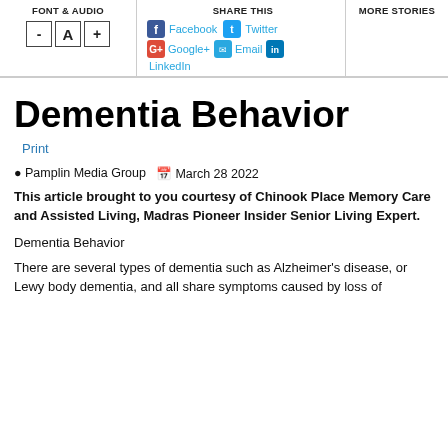FONT & AUDIO | SHARE THIS | MORE STORIES
[Figure (screenshot): Website toolbar with font/audio controls (-, A, + buttons), share buttons (Facebook, Twitter, Google+, Email, LinkedIn), and More Stories section]
Dementia Behavior
Print
Pamplin Media Group   March 28 2022
This article brought to you courtesy of Chinook Place Memory Care and Assisted Living, Madras Pioneer Insider Senior Living Expert.
Dementia Behavior
There are several types of dementia such as Alzheimer's disease, or Lewy body dementia, and all share symptoms caused by loss of